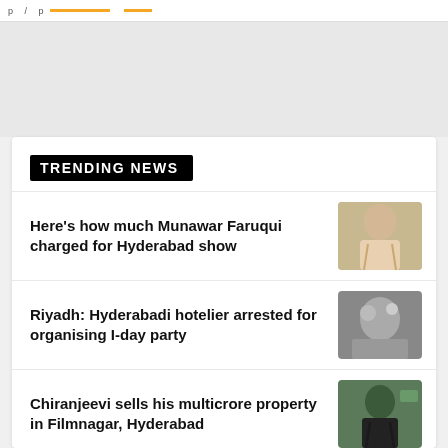Trending News
TRENDING NEWS
Here's how much Munawar Faruqui charged for Hyderabad show
Riyadh: Hyderabadi hotelier arrested for organising I-day party
Chiranjeevi sells his multicrore property in Filmnagar, Hyderabad
Sonali Phogat's murderer was her